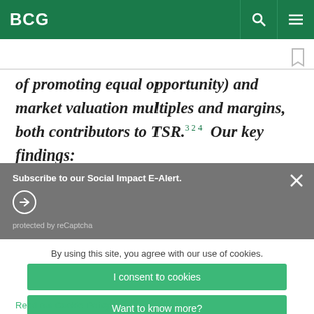BCG
of promoting equal opportunity) and market valuation multiples and margins, both contributors to TSR.^3 ^2 ^4 Our key findings:
Subscribe to our Social Impact E-Alert.
protected by reCaptcha
By using this site, you agree with our use of cookies.
I consent to cookies
Want to know more?
Read our Cookie Policy